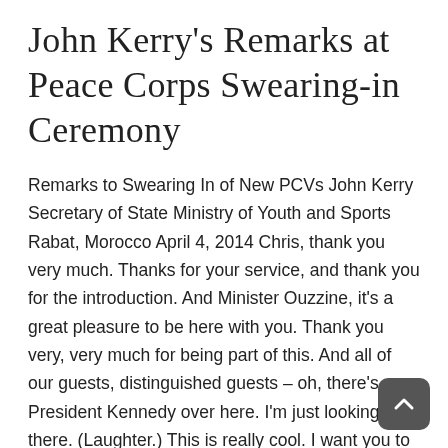John Kerry's Remarks at Peace Corps Swearing-in Ceremony
Remarks to Swearing In of New PCVs John Kerry Secretary of State Ministry of Youth and Sports Rabat, Morocco April 4, 2014 Chris, thank you very much. Thanks for your service, and thank you for the introduction. And Minister Ouzzine, it's a great pleasure to be here with you. Thank you very, very much for being part of this. And all of our guests, distinguished guests – oh, there's President Kennedy over here. I'm just looking over there. (Laughter.) This is really cool. I want you to know I'm really excited about this. I'm thrilled that somehow it coincided and we were able to work out that I have the privilege of swearing you in. And when I heard I was